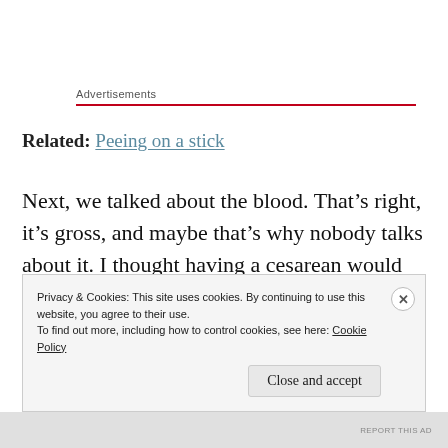Advertisements
Related: Peeing on a stick
Next, we talked about the blood. That’s right, it’s gross, and maybe that’s why nobody talks about it. I thought having a cesarean would mean little of the icky stuff. But no – nobody prepared me for the need of jumbo packs of … I don’t know, what would you call them?
Privacy & Cookies: This site uses cookies. By continuing to use this website, you agree to their use.
To find out more, including how to control cookies, see here: Cookie Policy
Close and accept
REPORT THIS AD